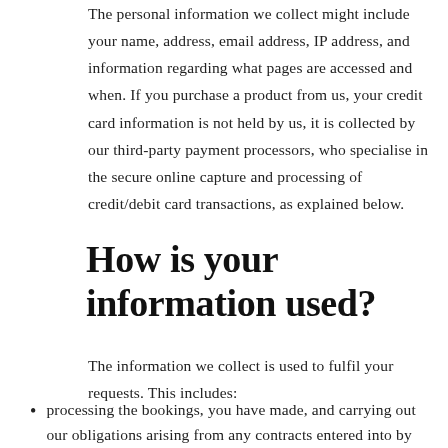The personal information we collect might include your name, address, email address, IP address, and information regarding what pages are accessed and when. If you purchase a product from us, your credit card information is not held by us, it is collected by our third-party payment processors, who specialise in the secure online capture and processing of credit/debit card transactions, as explained below.
How is your information used?
The information we collect is used to fulfil your requests. This includes:
processing the bookings, you have made, and carrying out our obligations arising from any contracts entered into by you and us;